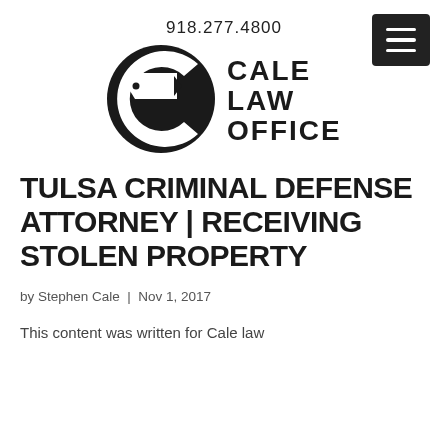918.277.4800
[Figure (logo): Cale Law Office logo: black circle with pen nib graphic on the left, and bold text CALE LAW OFFICE on the right]
TULSA CRIMINAL DEFENSE ATTORNEY | RECEIVING STOLEN PROPERTY
by Stephen Cale | Nov 1, 2017
This content was written for Cale law